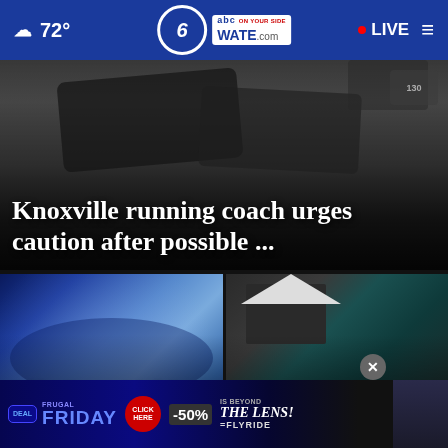72° | 6 abc WATE.com ON YOUR SIDE | • LIVE
[Figure (screenshot): Dark photo showing running shoes/legs from below, appears to be runners on a road or track]
Knoxville running coach urges caution after possible ...
[Figure (photo): Football players in blue uniforms running through a large blue inflatable tunnel at a high school game]
Friday Frenzy: Week 3 High School Football Highlights
[Figure (photo): Person standing in front of a dark house with teal/turquoise trim, appears to be a crime scene or investigation]
Knoxville shooting victim ...
[Figure (screenshot): Advertisement banner: Frugal Friday deal, Click Here, 50% off, Beyond the Lens / FlyRide promotion]